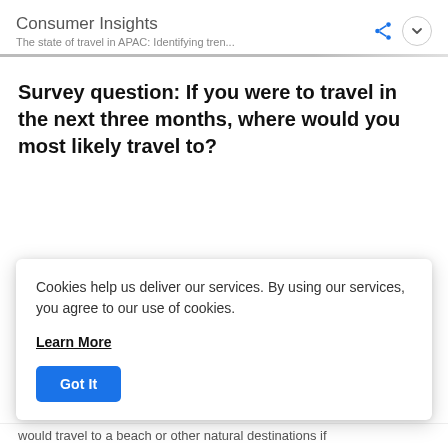Consumer Insights
The state of travel in APAC: Identifying tren...
Survey question: If you were to travel in the next three months, where would you most likely travel to?
Cookies help us deliver our services. By using our services, you agree to our use of cookies.
Learn More
Got It
would travel to a beach or other natural destinations if